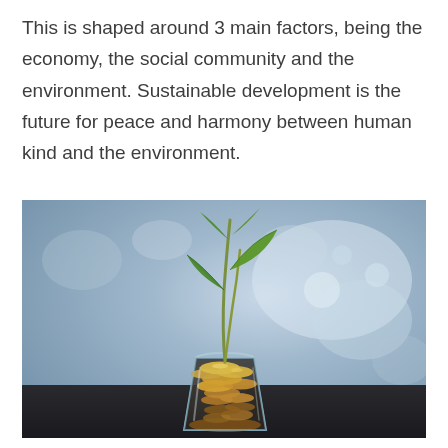This is shaped around 3 main factors, being the economy, the social community and the environment. Sustainable development is the future for peace and harmony between human kind and the environment.
[Figure (photo): A glass cup filled with coins with a small green plant seedling growing out of the top, set against a blurred blue and white painted wall background on a dark surface.]